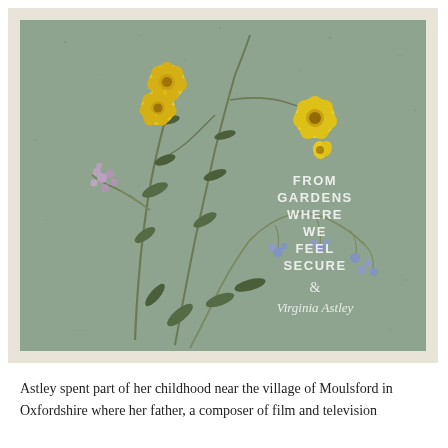[Figure (illustration): Album cover for 'From Gardens Where We Feel Secure' by Virginia Astley. Shows pressed wildflowers — yellow buttercups and purple/blue small flowers — on a sage green handmade paper background with torn edges. Text on the right side reads 'FROM GARDENS WHERE WE FEEL SECURE' and below it an ampersand and the cursive signature 'Virginia Astley'.]
Astley spent part of her childhood near the village of Moulsford in Oxfordshire where her father, a composer of film and television